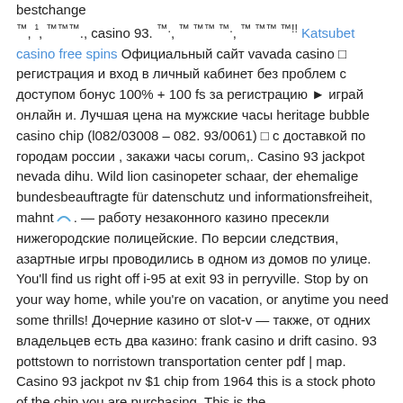bestchange ™, ¹, ™™™., casino 93. ™., ™ ™™ ™., ™ ™™ ™!!  Katsubet casino free spins Официальный сайт vavada casino □ регистрация и вход в личный кабинет без проблем с доступом бонус 100% + 100 fs за регистрацию ► играй онлайн и. Лучшая цена на мужские часы heritage bubble casino chip (l082/03008 – 082. 93/0061) □ с доставкой по городам россии , закажи часы corum,. Casino 93 jackpot nevada dihu. Wild lion casinopeter schaar, der ehemalige bundesbeauftragte für datenschutz und informationsfreiheit, mahnt,. — работу незаконного казино пресекли нижегородские полицейские. По версии следствия, азартные игры проводились в одном из домов по улице. You'll find us right off i-95 at exit 93 in perryville. Stop by on your way home, while you're on vacation, or anytime you need some thrills! Дочерние казино от slot-v — также, от одних владельцев есть два казино: frank casino и drift casino. 93 pottstown to norristown transportation center pdf | map. Casino 93 jackpot nv $1 chip from 1964 this is a stock photo of the chip you are purchasing. This is the